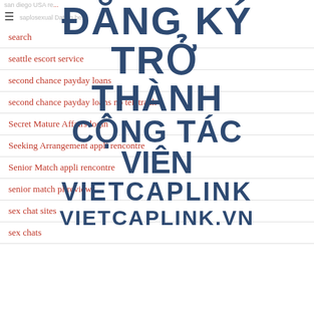san diego USA re... | ≡ | ...saplosexual Dating be...
[Figure (other): Watermark overlay text: ĐĂNG KÝ TRỞ THÀNH CỘNG TÁC VIÊN VIETCAPLINK VIETCAPLINK.VN in dark blue bold large font]
search
seattle escort service
second chance payday loans
second chance payday loans no teletrack
Secret Mature Affairs login
Seeking Arrangement appli rencontre
Senior Match appli rencontre
senior match pl review
sex chat sites
sex chats